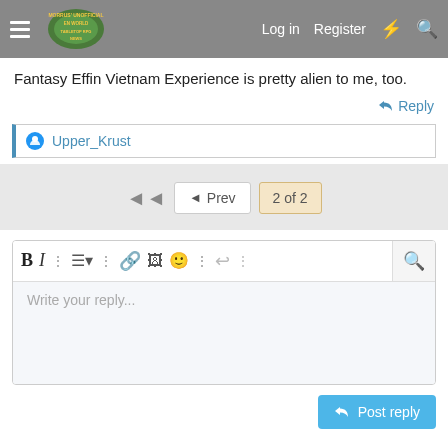Morrus' Unofficial Tabletop RPG News — Log in  Register
Fantasy Effin Vietnam Experience is pretty alien to me, too.
Reply
Upper_Krust
◄◄  ◄ Prev  2 of 2
[Figure (screenshot): Text editor toolbar with Bold, Italic, and other formatting buttons, and a reply text input area with placeholder 'Write your reply...']
Post reply